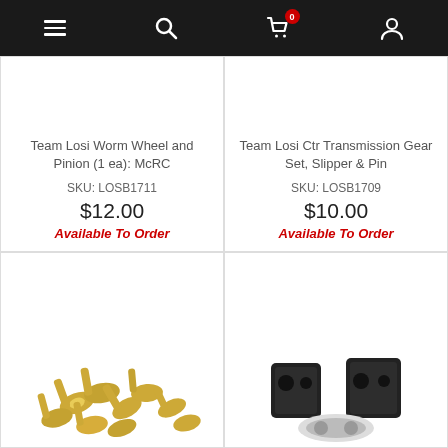Navigation bar with menu, search, cart (0 items), and account icons
[Figure (photo): Product image area for Team Losi Worm Wheel and Pinion (white/blank area)]
Team Losi Worm Wheel and Pinion (1 ea): McRC
SKU: LOSB1711
$12.00
Available To Order
[Figure (photo): Product image area for Team Losi Ctr Transmission Gear Set (white/blank area)]
Team Losi Ctr Transmission Gear Set, Slipper & Pin
SKU: LOSB1709
$10.00
Available To Order
[Figure (photo): Photo of gold/brass colored screws or fasteners on white background]
[Figure (photo): Photo of black plastic transmission gear housing components and a white plate on white background]